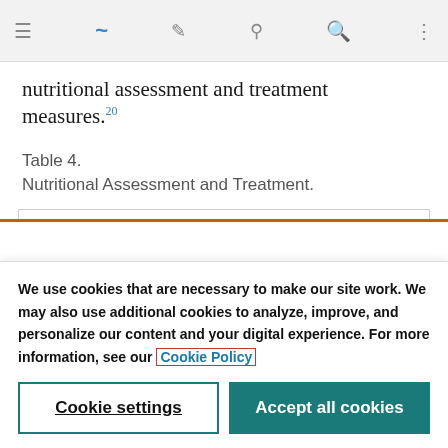nutritional assessment and treatment measures.
Table 4.
Nutritional Assessment and Treatment.
We use cookies that are necessary to make our site work. We may also use additional cookies to analyze, improve, and personalize our content and your digital experience. For more information, see our Cookie Policy
Cookie settings
Accept all cookies